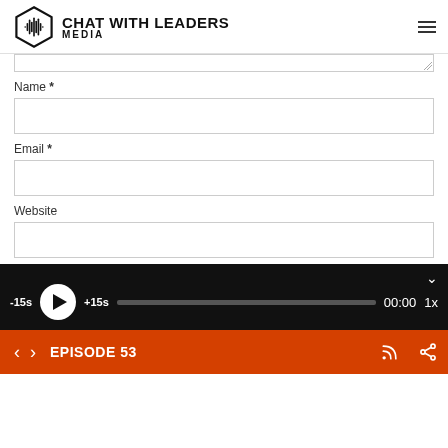Chat With Leaders Media
Name *
Email *
Website
[Figure (screenshot): Audio player with play button, skip -15s / +15s controls, progress bar, time 00:00, and 1x speed on black background]
EPISODE 53